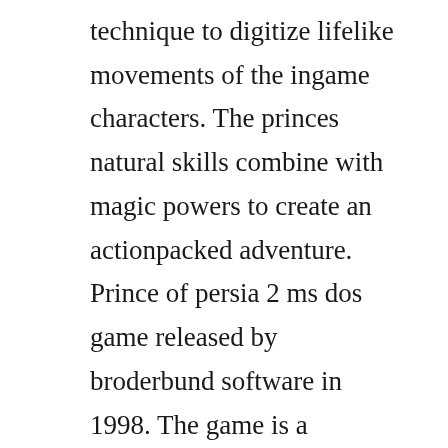technique to digitize lifelike movements of the ingame characters. The princes natural skills combine with magic powers to create an actionpacked adventure. Prince of persia 2 ms dos game released by broderbund software in 1998. The game is a platformer that combines a running in the dungeons and sword fighting. Released in 1993 on dos, its still available and playable with some tinkering. Prince of persia 2 in ancient persia there lived a sultan who had an only. The shadow and the flame is a platform game released by broderbund in 1993. The princess is also imprisoned and is